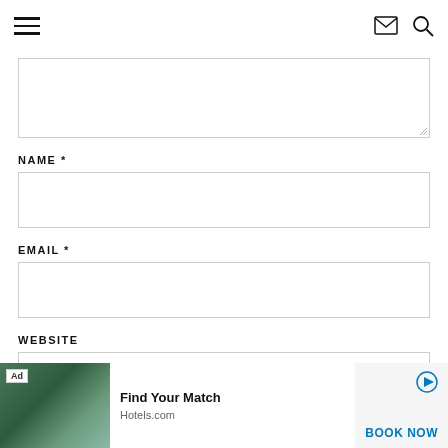navigation header with hamburger menu, email icon, search icon
[Figure (other): Text area input box (comment field) with resize handle at bottom right]
NAME *
[Figure (other): Name input field text box]
EMAIL *
[Figure (other): Email input field text box]
WEBSITE
[Figure (other): Website input field text box (partially visible)]
[Figure (other): Advertisement banner: Ad badge, tropical resort pool image, 'Find Your Match' text, Hotels.com, BOOK NOW button, play icon]